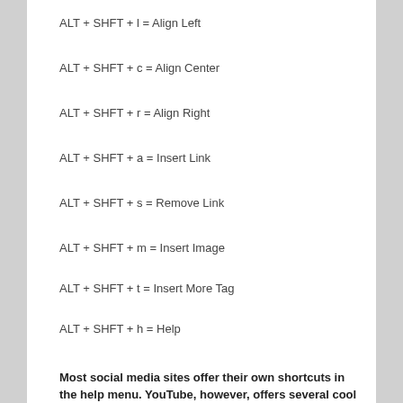ALT + SHFT + l = Align Left
ALT + SHFT + c = Align Center
ALT + SHFT + r = Align Right
ALT + SHFT + a = Insert Link
ALT + SHFT + s = Remove Link
ALT + SHFT + m = Insert Image
ALT + SHFT + t = Insert More Tag
ALT + SHFT + h = Help
Most social media sites offer their own shortcuts in the help menu. YouTube, however, offers several cool hacks to save time.